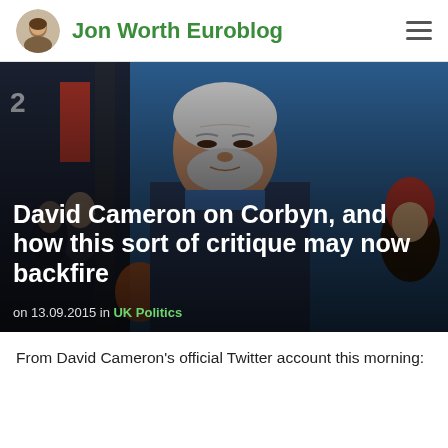Jon Worth Euroblog
[Figure (photo): Photograph of Jeremy Corbyn with crowd in background, blue and red colors visible. Hero banner image for blog post.]
David Cameron on Corbyn, and how this sort of critique may now backfire
on 13.09.2015 in UK Politics
From David Cameron's official Twitter account this morning: